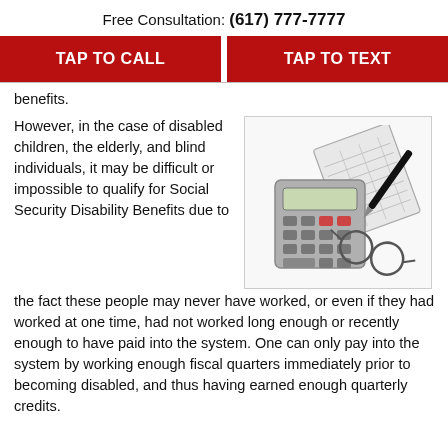Free Consultation: (617) 777-7777
TAP TO CALL
TAP TO TEXT
benefits.
However, in the case of disabled children, the elderly, and blind individuals, it may be difficult or impossible to qualify for Social Security Disability Benefits due to the fact these people may never have worked, or even if they had worked at one time, had not worked long enough or recently enough to have paid into the system. One can only pay into the system by working enough fiscal quarters immediately prior to becoming disabled, and thus having earned enough quarterly credits.
[Figure (photo): A calculator, notebook/ledger, pen, and glasses arranged together on a white background]